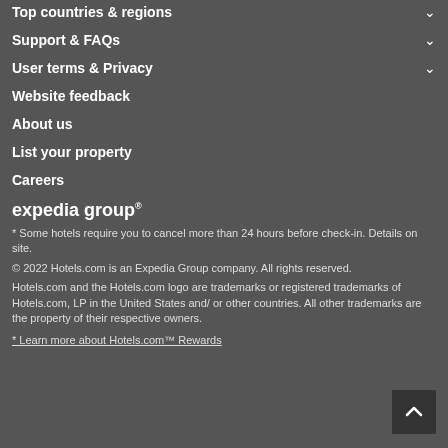Top countries & regions
Support & FAQs
User terms & Privacy
Website feedback
About us
List your property
Careers
[Figure (logo): Expedia Group logo in white text]
* Some hotels require you to cancel more than 24 hours before check-in. Details on site.
© 2022 Hotels.com is an Expedia Group company. All rights reserved.
Hotels.com and the Hotels.com logo are trademarks or registered trademarks of Hotels.com, LP in the United States and/ or other countries. All other trademarks are the property of their respective owners.
* Learn more about Hotels.com™ Rewards